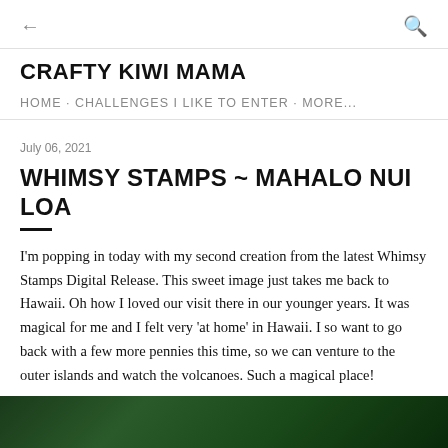← [back] [search]
CRAFTY KIWI MAMA
HOME · CHALLENGES I LIKE TO ENTER · MORE...
July 06, 2021
WHIMSY STAMPS ~ MAHALO NUI LOA
I'm popping in today with my second creation from the latest Whimsy Stamps Digital Release. This sweet image just takes me back to Hawaii. Oh how I loved our visit there in our younger years. It was magical for me and I felt very 'at home' in Hawaii. I so want to go back with a few more pennies this time, so we can venture to the outer islands and watch the volcanoes. Such a magical place!
[Figure (photo): Dark green tropical foliage at the bottom of the page]